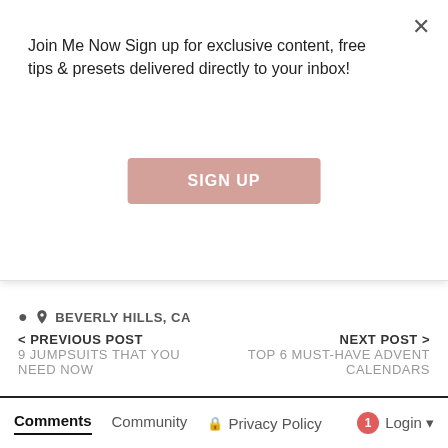Join Me Now Sign up for exclusive content, free tips & presets delivered directly to your inbox!
SIGN UP
Giveaway)!
Sustainable Brands
BEVERLY HILLS, CA
< PREVIOUS POST
9 JUMPSUITS THAT YOU NEED NOW
NEXT POST >
TOP 6 MUST-HAVE ADVENT CALENDARS
Comments  Community  Privacy Policy  1  Login